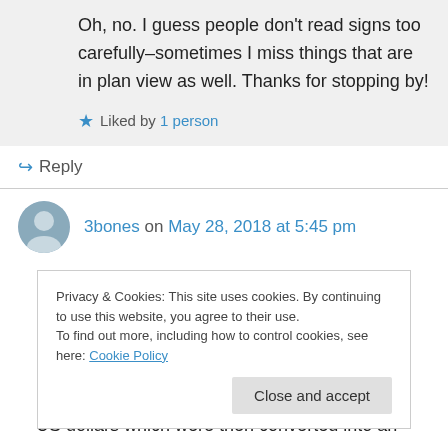Oh, no. I guess people don't read signs too carefully–sometimes I miss things that are in plan view as well. Thanks for stopping by!
Liked by 1 person
Reply
3bones on May 28, 2018 at 5:45 pm
Loved this post after finding your blog when you found mine. When we moved to our new home
Privacy & Cookies: This site uses cookies. By continuing to use this website, you agree to their use. To find out more, including how to control cookies, see here: Cookie Policy
Close and accept
US dollars which were then converted into an